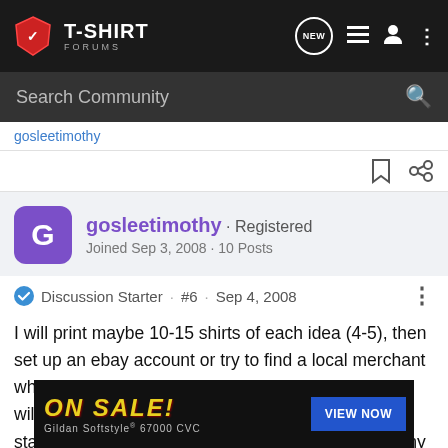T-SHIRT FORUMS
Search Community
gosleetimothy · Registered
Joined Sep 3, 2008 · 10 Posts
Discussion Starter · #6 · Sep 4, 2008
I will print maybe 10-15 shirts of each idea (4-5), then set up an ebay account or try to find a local merchant who will allow me to sell my shirts in his/her store. I will also give a few shirts free to friends to hopefully start some buzz. Any other idea's as far as selling my product? You have been most helpful, if you get annoyed with me, just tell me to shut it!!
[Figure (other): Advertisement banner: ON SALE! Gildan Softstyle 67000 CVC, VIEW NOW button]